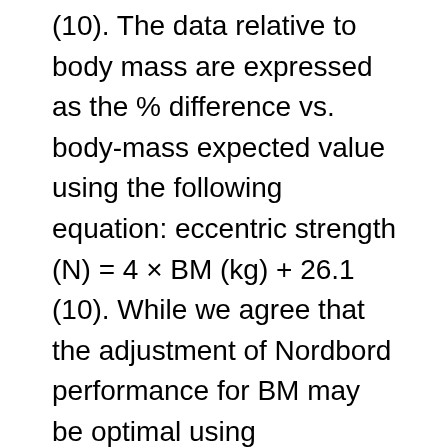(10). The data relative to body mass are expressed as the % difference vs. body-mass expected value using the following equation: eccentric strength (N) = 4 × BM (kg) + 26.1 (10). While we agree that the adjustment of Nordbord performance for BM may be optimal using population-specific equations (10), we chose to use this generic equation since this is what most practitioners would use initially, before getting their own equation. We also believe that using a group-specific equation would not change the main message of the present example. Muscle fascicles were imaged using a 42-mm linear probe (2–10 MHz, SL10-2, Supersonic Imagine, Aix-en-Provence, France) coupled with an ultrasound